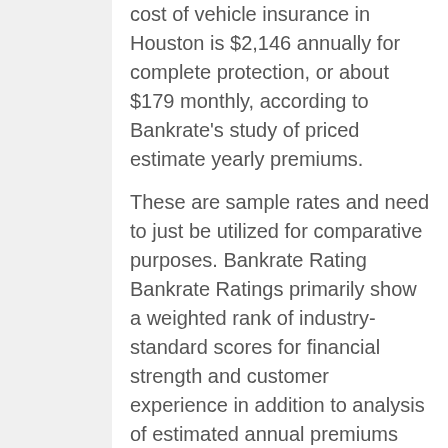cost of vehicle insurance in Houston is $2,146 annually for complete protection, or about $179 monthly, according to Bankrate's study of priced estimate yearly premiums.
These are sample rates and need to just be utilized for comparative purposes. Bankrate Rating Bankrate Ratings primarily show a weighted rank of industry-standard scores for financial strength and customer experience in addition to analysis of estimated annual premiums from Quadrant Details Services, spanning all 50 states and Washington, D.C. We understand it is very important for drivers to be confident their